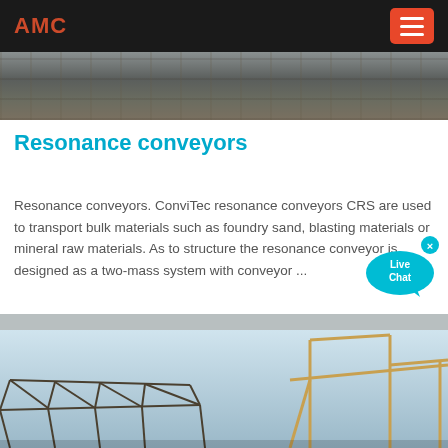AMC
[Figure (photo): Construction site photo strip at top of page]
Resonance conveyors
Resonance conveyors. ConviTec resonance conveyors CRS are used to transport bulk materials such as foundry sand, blasting materials or mineral raw materials. As to structure the resonance conveyor is designed as a two-mass system with conveyor ...
[Figure (photo): Steel frame structure / conveyor engineering photo at bottom of page]